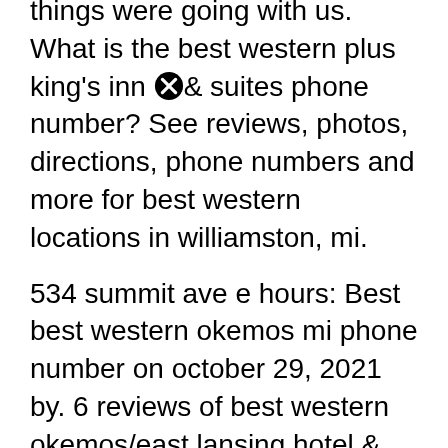things were going with us. What is the best western plus king's inn & suites phone number? See reviews, photos, directions, phone numbers and more for best western locations in williamston, mi.
534 summit ave e hours: Best best western okemos mi phone number on october 29, 2021 by. 6 reviews of best western okemos/east lansing hotel & suites bw was a last minute decision as we didn't make any plans this weekend because of personal struggles.
If you want something that's hip or ironic, you'll need to try elsewhere. See 2,762 tripadvisor traveller reviews of 97 okemos restaurants and search by cuisine, price,